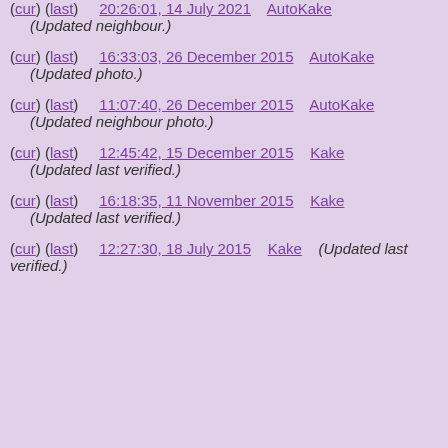(cur) (last) 16:33:03, 26 December 2015 AutoKake
(Updated photo.)
(cur) (last) 11:07:40, 26 December 2015 AutoKake
(Updated neighbour photo.)
(cur) (last) 12:45:42, 15 December 2015 Kake
(Updated last verified.)
(cur) (last) 16:18:35, 11 November 2015 Kake
(Updated last verified.)
(cur) (last) 12:27:30, 18 July 2015 Kake (Updated last verified.)